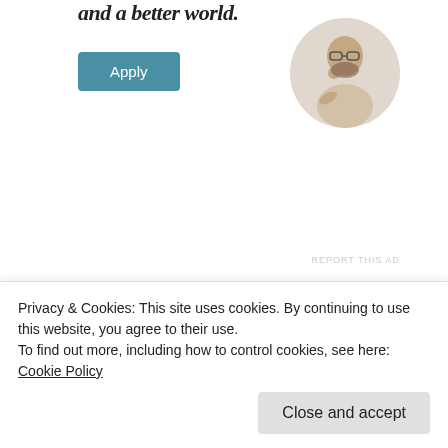and a better world.
[Figure (photo): Circular portrait photo of a man wearing glasses, resting his chin on his hand, seated at a desk]
REPORT THIS AD
Share this:
Reddit
Twitter
Facebook
LinkedIn
Pinterest
WhatsApp
Email
Privacy & Cookies: This site uses cookies. By continuing to use this website, you agree to their use.
To find out more, including how to control cookies, see here: Cookie Policy
Close and accept
Reflecting on Sky's F1
Sky Sports to